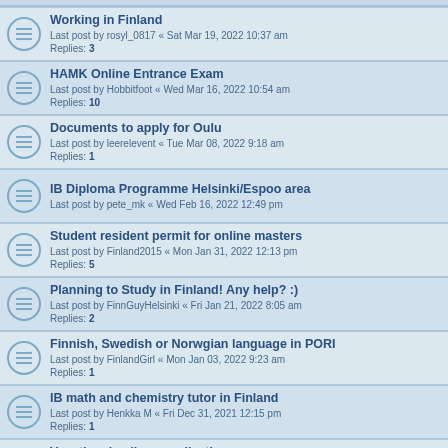Working in Finland
Last post by rosyl_0817 « Sat Mar 19, 2022 10:37 am
Replies: 3
HAMK Online Entrance Exam
Last post by Hobbitfoot « Wed Mar 16, 2022 10:54 am
Replies: 10
Documents to apply for Oulu
Last post by leerelevent « Tue Mar 08, 2022 9:18 am
Replies: 1
IB Diploma Programme Helsinki/Espoo area
Last post by pete_mk « Wed Feb 16, 2022 12:49 pm
Student resident permit for online masters
Last post by Finland2015 « Mon Jan 31, 2022 12:13 pm
Replies: 5
Planning to Study in Finland! Any help? :)
Last post by FinnGuyHelsinki « Fri Jan 21, 2022 8:05 am
Replies: 2
Finnish, Swedish or Norwgian language in PORI
Last post by FinlandGirl « Mon Jan 03, 2022 9:23 am
Replies: 1
IB math and chemistry tutor in Finland
Last post by Henkka M « Fri Dec 31, 2021 12:15 pm
Replies: 1
Vocational college application
Last post by Belinda « Sat Dec 04, 2021 2:01 am
Replies: 2
Nursing program
Last post by C_xx « Wed Oct 20, 2021 8:42 pm